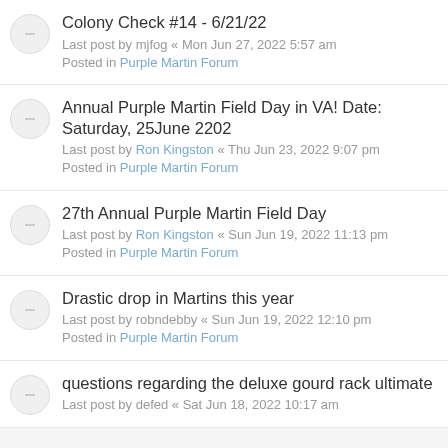Colony Check #14 - 6/21/22
Last post by mjfog « Mon Jun 27, 2022 5:57 am
Posted in Purple Martin Forum
Annual Purple Martin Field Day in VA! Date: Saturday, 25June 2202
Last post by Ron Kingston « Thu Jun 23, 2022 9:07 pm
Posted in Purple Martin Forum
27th Annual Purple Martin Field Day
Last post by Ron Kingston « Sun Jun 19, 2022 11:13 pm
Posted in Purple Martin Forum
Drastic drop in Martins this year
Last post by robndebby « Sun Jun 19, 2022 12:10 pm
Posted in Purple Martin Forum
questions regarding the deluxe gourd rack ultimate
Last post by defed « Sat Jun 18, 2022 10:17 am